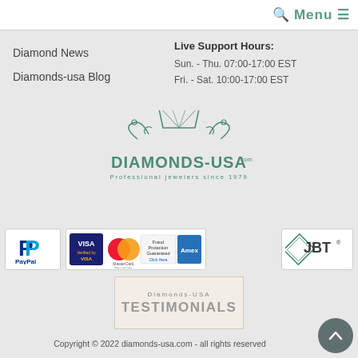Menu ☰
Diamond News
Diamonds-usa Blog
Live Support Hours:
Sun. - Thu. 07:00-17:00 EST
Fri. - Sat. 10:00-17:00 EST
[Figure (logo): Diamonds-USA.com logo with diamond graphic and text 'Professional jewelers since 1979']
[Figure (logo): PayPal logo badge]
[Figure (logo): Visa Verified, MasterCard SecureCode, Fraud Protection Guaranteed, American Express cards badge]
[Figure (logo): JBT (Jewelers Board of Trade) logo badge]
[Figure (logo): Diamonds-USA Testimonials badge]
Copyright © 2022 diamonds-usa.com - all rights reserved